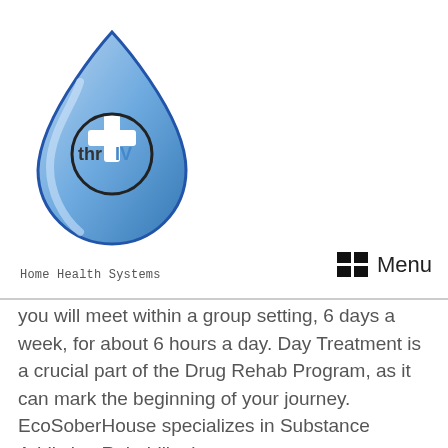[Figure (logo): ThrIV Home Health Systems logo — blue water drop shape with a white cross and text 'thrIV' inside]
Home Health Systems
you will meet within a group setting, 6 days a week, for about 6 hours a day. Day Treatment is a crucial part of the Drug Rehab Program, as it can mark the beginning of your journey. EcoSoberHouse specializes in Substance Addiction Rehabilitation.
Banyan Massachusetts
Admission at Banyan Massachusetts starts with the individual verifying the benefits of their medical insurance program. Insurance programs accepted include Aetna, BlueCross BlueShield, MultiPlan, Magellan Healthcare, and more. Visit the official